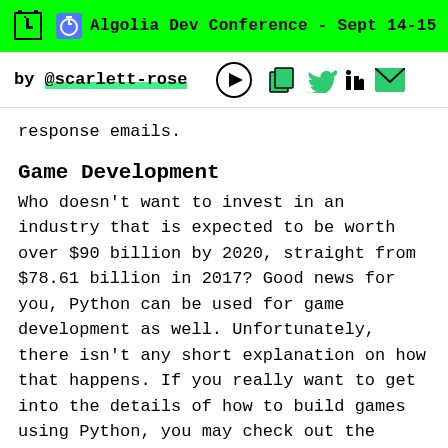Algolia Dev Conference - Sept 14-15
by @scarlett-rose
response emails.
Game Development
Who doesn't want to invest in an industry that is expected to be worth over $90 billion by 2020, straight from $78.61 billion in 2017? Good news for you, Python can be used for game development as well. Unfortunately, there isn't any short explanation on how that happens. If you really want to get into the details of how to build games using Python, you may check out the video below.